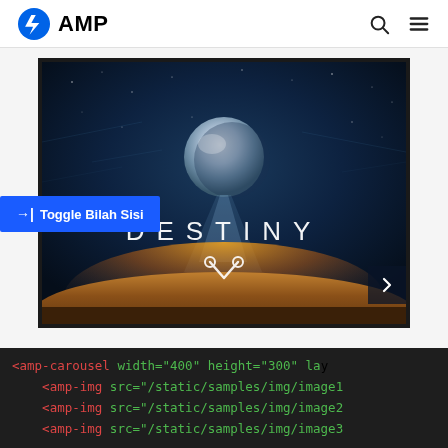AMP
[Figure (screenshot): AMP carousel demo showing a Destiny game promotional image with 'Toggle Bilah Sisi' button overlay and a right-arrow navigation button]
<amp-carousel width="400" height="300" lay
    <amp-img src="/static/samples/img/image1
    <amp-img src="/static/samples/img/image2
    <amp-img src="/static/samples/img/image3